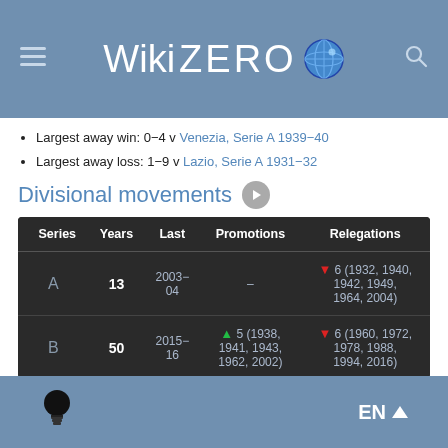WikiZero
Largest away win: 0−4 v Venezia, Serie A 1939−40
Largest away loss: 1−9 v Lazio, Serie A 1931−32
Divisional movements
| Series | Years | Last | Promotions | Relegations |
| --- | --- | --- | --- | --- |
| A | 13 | 2003−04 | – | ▼ 6 (1932, 1940, 1942, 1949, 1964, 2004) |
| B | 50 | 2015−16 | ▲ 5 (1938, 1941, 1943, 1962, 2002) | ▼ 6 (1960, 1972, 1978, 1988, 1994, 2016) |
EN ▲